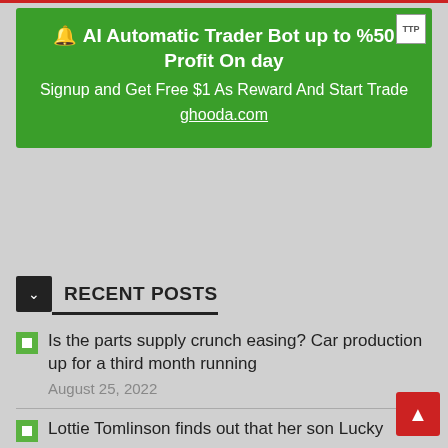[Figure (other): Green advertisement banner for AI Automatic Trader Bot with text about 50% profit and ghooda.com link]
RECENT POSTS
Is the parts supply crunch easing? Car production up for a third month running
August 25, 2022
Lottie Tomlinson finds out that her son Lucky